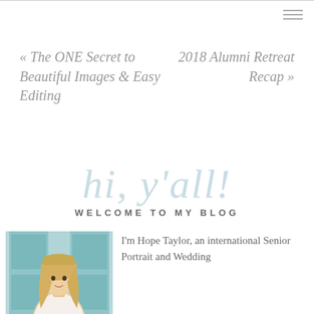« The ONE Secret to Beautiful Images & Easy Editing
2018 Alumni Retreat Recap »
hi, y'all!
WELCOME TO MY BLOG
[Figure (photo): Portrait photo of a blonde woman in front of teal/turquoise doors or backdrop]
I'm Hope Taylor, an international Senior Portrait and Wedding